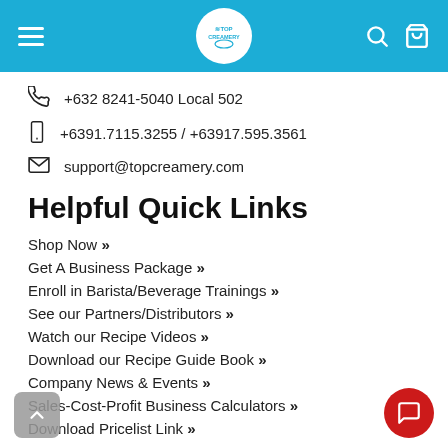Top Creamery
+632 8241-5040 Local 502
+6391.7115.3255 / +63917.595.3561
support@topcreamery.com
Helpful Quick Links
Shop Now »
Get A Business Package »
Enroll in Barista/Beverage Trainings »
See our Partners/Distributors »
Watch our Recipe Videos »
Download our Recipe Guide Book »
Company News & Events »
Sales-Cost-Profit Business Calculators »
Download Pricelist Link »